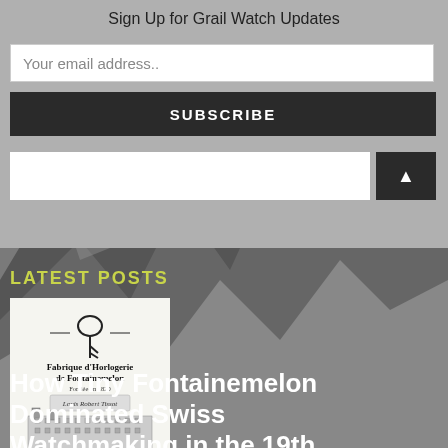Sign Up for Grail Watch Updates
Your email address..
SUBSCRIBE
LATEST POSTS
[Figure (illustration): Vintage engraving of Fabrique d'Horlogerie de Fontainemelon factory with text and logo]
How Tiny Fontainemelon Dominated Swiss Watchmaking in the 19th